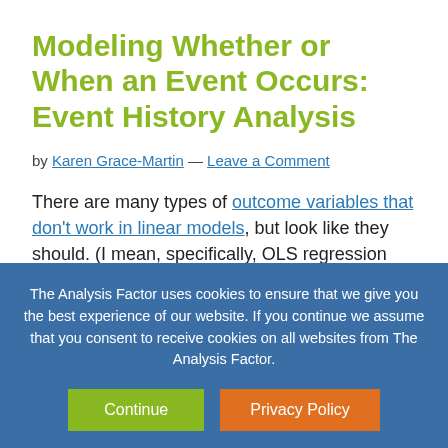Modeling Whether or When an Event Occurs: Event History Analysis
by Karen Grace-Martin — Leave a Comment
There are many types of outcome variables that don't work in linear models, but look like they should. (I mean, specifically, OLS regression and ANOVA models).
The Analysis Factor uses cookies to ensure that we give you the best experience of our website. If you continue we assume that you consent to receive cookies on all websites from The Analysis Factor.